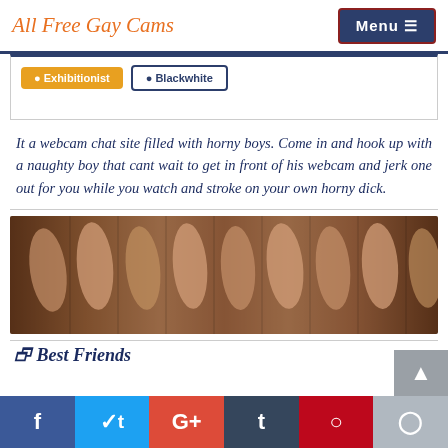All Free Gay Cams
[Figure (screenshot): Partial view of two buttons: 'Exhibitionist' and 'Blackwhite' (partially visible tag filter buttons)]
It a webcam chat site filled with horny boys. Come in and hook up with a naughty boy that cant wait to get in front of his webcam and jerk one out for you while you watch and stroke on your own horny dick.
[Figure (photo): A row of male genitalia in sepia/warm tones, repeated across the banner image]
Best Friends
f  t  G+  t  p  reddit (social share buttons)